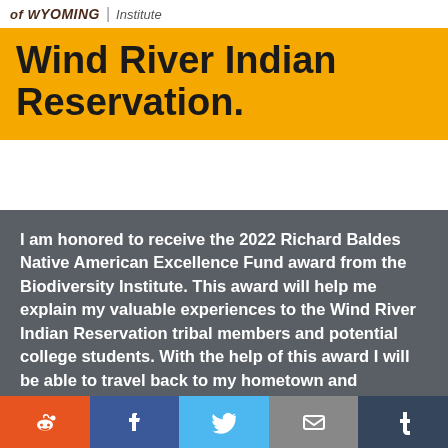of WYOMING | Institute
Wind River Indian Reservation.
I am honored to receive the 2022 Richard Baldes Native American Excellence Fund award from the Biodiversity Institute. This award will help me explain my valuable experiences to the Wind River Indian Reservation tribal members and potential college students. With the help of this award I will be able to travel back to my hometown and hopefully encourage students and tribal members to learn more about mule deer biodiversity and learn how these processes are connected in nature. I will be able to explain
Reddit | Facebook | Twitter | Email | Tumblr